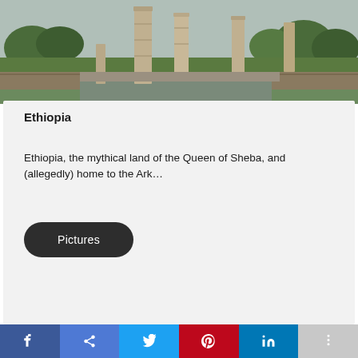[Figure (photo): Outdoor photo of tall stone obelisks/stelae standing on green grass with trees and cloudy sky in background — Axum stelae field, Ethiopia]
Ethiopia
Ethiopia, the mythical land of the Queen of Sheba, and (allegedly) home to the Ark…
Pictures
f  f  Twitter  Pinterest  in  +